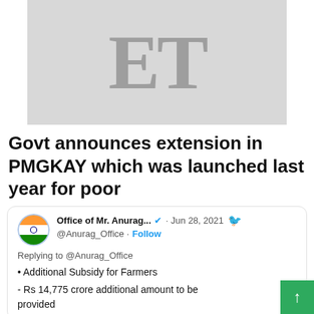[Figure (logo): Economic Times (ET) logo — large serif letters 'ET' on a light grey rectangle background]
Govt announces extension in PMGKAY which was launched last year for poor
Office of Mr. Anurag... · Jun 28, 2021
@Anurag_Office · Follow
Replying to @Anurag_Office
• Additional Subsidy for Farmers
- Rs 14,775 crore additional amount to be provided